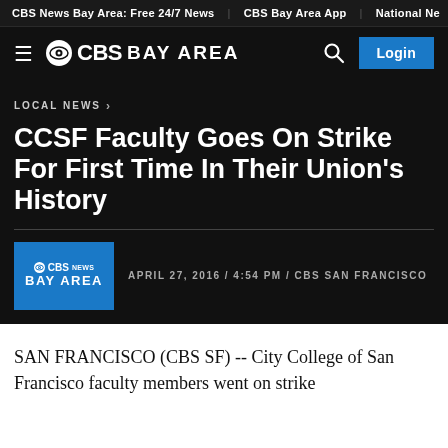CBS News Bay Area: Free 24/7 News | CBS Bay Area App | National Ne…
[Figure (logo): CBS Bay Area navigation bar with hamburger menu, CBS eye logo, search icon, and Login button]
LOCAL NEWS ›
CCSF Faculty Goes On Strike For First Time In Their Union's History
APRIL 27, 2016 / 4:54 PM / CBS SAN FRANCISCO
SAN FRANCISCO (CBS SF) -- City College of San Francisco faculty members went on strike…